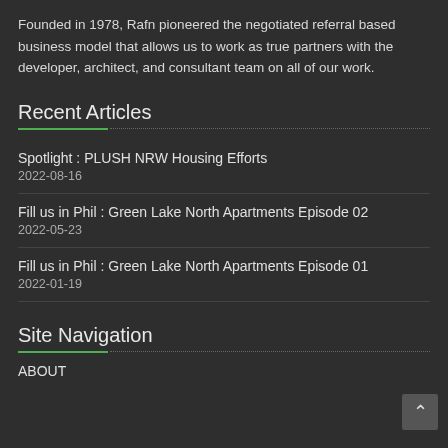Founded in 1978, Rafn pioneered the negotiated referral based business model that allows us to work as true partners with the developer, architect, and consultant team on all of our work.
Recent Articles
Spotlight : PLUSH NRW Housing Efforts
2022-08-16
Fill us in Phil : Green Lake North Apartments Episode 02
2022-05-23
Fill us in Phil : Green Lake North Apartments Episode 01
2022-01-19
Site Navigation
ABOUT